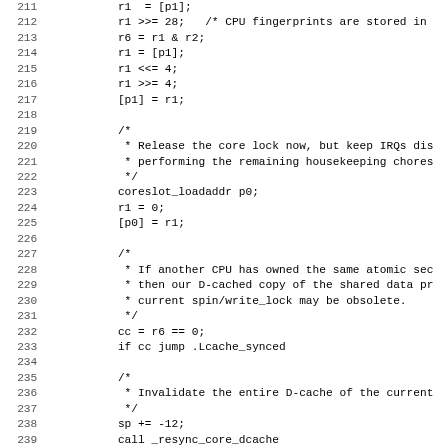Assembly source code listing lines 211-243, showing CPU fingerprint storage, core lock release, D-cache invalidation, and cache sync check routines in assembly language.